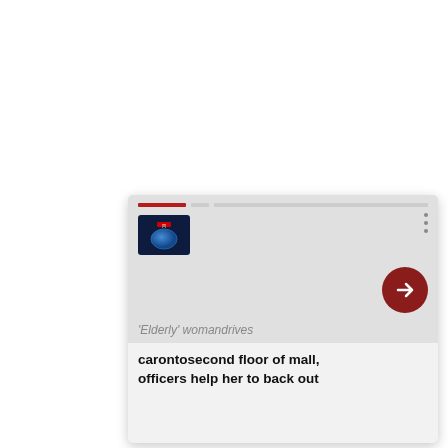[Figure (screenshot): A news article card UI component with a dark red progress bar at top, a thumbnail image of a globe on the left, a three-dot menu icon on the right, a dark red circular arrow/navigation button, and a news headline reading: 'Elderly' womandrives carontosecond floor of mall, officers help her to back out]
'Elderly' womandrives
carontosecond floor of mall, officers help her to back out